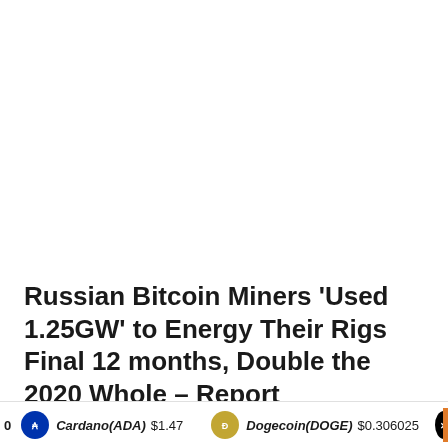Russian Bitcoin Miners ‘Used 1.25GW’ to Energy Their Rigs Final 12 months, Double the 2020 Whole – Report
2 weeks ago
0  Cardano(ADA) $1.47  Dogecoin(DOGE) $0.306025  ✕